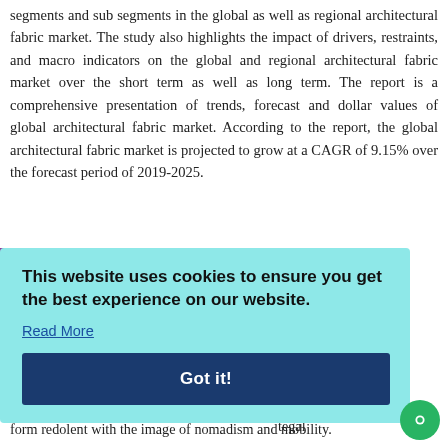segments and sub segments in the global as well as regional architectural fabric market. The study also highlights the impact of drivers, restraints, and macro indicators on the global and regional architectural fabric market over the short term as well as long term. The report is a comprehensive presentation of trends, forecast and dollar values of global architectural fabric market. According to the report, the global architectural fabric market is projected to grow at a CAGR of 9.15% over the forecast period of 2019-2025.
[Figure (screenshot): Cookie consent overlay on light teal background. Text: 'This website uses cookies to ensure you get the best experience on our website.' with a 'Read More' link and a dark blue 'Got it!' button. A purple bar appears at left edge. A green chat icon at bottom right.]
most be some of buildings tweight dings at ent. It is tegal form redolent with the image of nomadism and mobility.